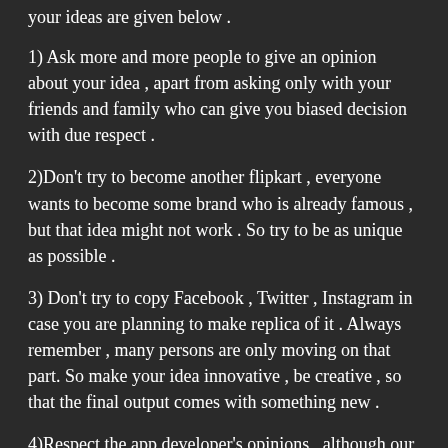your ideas are given below .
1) Ask more and more people to give an opinion about your idea , apart from asking only with your friends and family who can give you biased decision with due respect .
2)Don't try to become another flipkart , everyone wants to become some brand who is already famous , but that idea might not work . So try to be as unique as possible .
3) Don't try to copy Facebook , Twitter , Instagram in case you are planning to make replica of it . Always remember , many persons are only moving on that part. So make your idea innovative , be creative , so that the final output comes with something new .
4)Respect the app developer's opinions , although our words are not golden charms , but we are a little bit